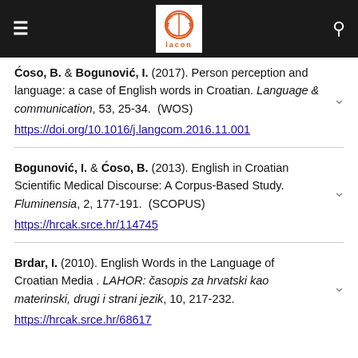LACON
Ćoso, B. & Bogunović, I. (2017). Person perception and language: a case of English words in Croatian. Language & communication, 53, 25-34. (WOS) https://doi.org/10.1016/j.langcom.2016.11.001
Bogunović, I. & Ćoso, B. (2013). English in Croatian Scientific Medical Discourse: A Corpus-Based Study. Fluminensia, 2, 177-191. (SCOPUS) https://hrcak.srce.hr/114745
Brdar, I. (2010). English Words in the Language of Croatian Media . LAHOR: časopis za hrvatski kao materinski, drugi i strani jezik, 10, 217-232. https://hrcak.srce.hr/68617